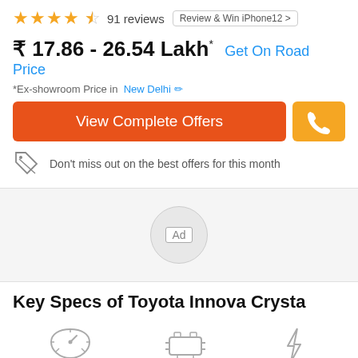★★★★☆ 91 reviews | Review & Win iPhone12
₹ 17.86 - 26.54 Lakh* Get On Road Price
*Ex-showroom Price in New Delhi ✏
View Complete Offers
Don't miss out on the best offers for this month
[Figure (other): Ad placeholder circle]
Key Specs of Toyota Innova Crysta
[Figure (other): Three spec icons: speedometer, engine, lightning bolt]